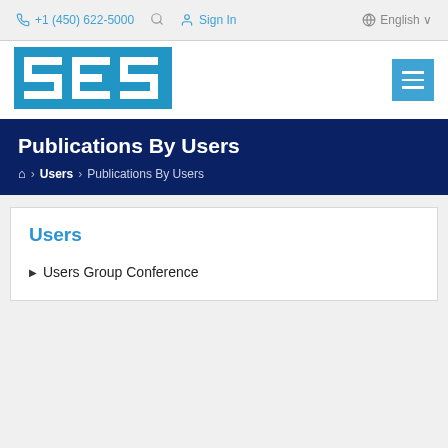+1 (450) 622-5000   Sign In   English
[Figure (logo): SES company logo — white SES letters in a blue rectangular border]
Publications By Users
Home > Users > Publications By Users
Users
Users Group Conference